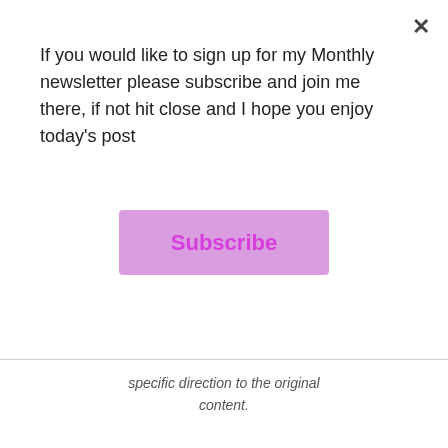If you would like to sign up for my Monthly newsletter please subscribe and join me there, if not hit close and I hope you enjoy today's post
Subscribe
specific direction to the original content.
Follow Blog via Email
Enter your email address to follow this blog and receive notifications of new posts by email.
Enter your email address